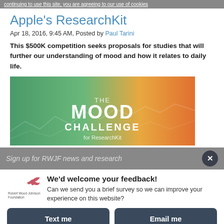continuing to use this site, you are agreeing to our use of cookies
Apple's ResearchKit
Apr 18, 2016, 9:45 AM, Posted by Paul Tarini
This $500K competition seeks proposals for studies that will further our understanding of mood and how it relates to daily life.
[Figure (illustration): Banner image for 'The Mood Challenge for ResearchKit' with gradient background from green to orange and waveform graphics]
Sign up for RWJF news and research
We'd welcome your feedback! Can we send you a brief survey so we can improve your experience on this website?
Text me
Email me
Powered by ForeSee